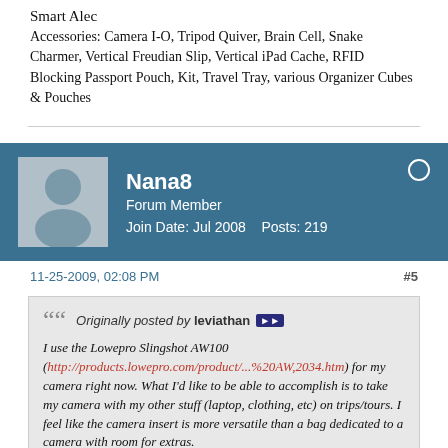Smart Alec
Accessories: Camera I-O, Tripod Quiver, Brain Cell, Snake Charmer, Vertical Freudian Slip, Vertical iPad Cache, RFID Blocking Passport Pouch, Kit, Travel Tray, various Organizer Cubes & Pouches
Nana8
Forum Member
Join Date: Jul 2008    Posts: 219
11-25-2009, 02:08 PM
#5
Originally posted by leviathan
I use the Lowepro Slingshot AW100 (http://products.lowepro.com/product/...%20AW,2034.htm) for my camera right now. What I'd like to be able to accomplish is to take my camera with my other stuff (laptop, clothing, etc) on trips/tours. I feel like the camera insert is more versatile than a bag dedicated to a camera with room for extras.
Having everything in one bag is amazing. Having